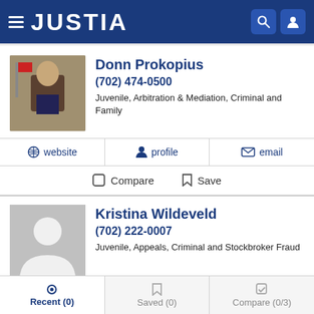JUSTIA
Donn Prokopius
(702) 474-0500
Juvenile, Arbitration & Mediation, Criminal and Family
website  profile  email
Compare  Save
Kristina Wildeveld
(702) 222-0007
Juvenile, Appeals, Criminal and Stockbroker Fraud
website  profile  email
Recent (0)  Saved (0)  Compare (0/3)